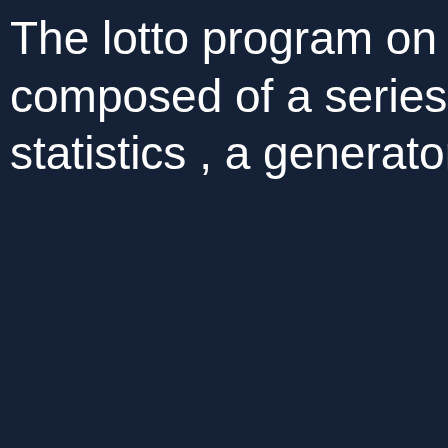The lotto program on this composed of a series of t statistics , a generator, a